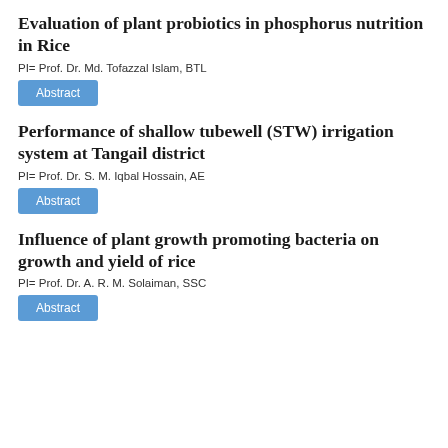Evaluation of plant probiotics in phosphorus nutrition in Rice
PI= Prof. Dr. Md. Tofazzal Islam, BTL
Abstract
Performance of shallow tubewell (STW) irrigation system at Tangail district
PI= Prof. Dr. S. M. Iqbal Hossain, AE
Abstract
Influence of plant growth promoting bacteria on growth and yield of rice
PI= Prof. Dr. A. R. M. Solaiman, SSC
Abstract